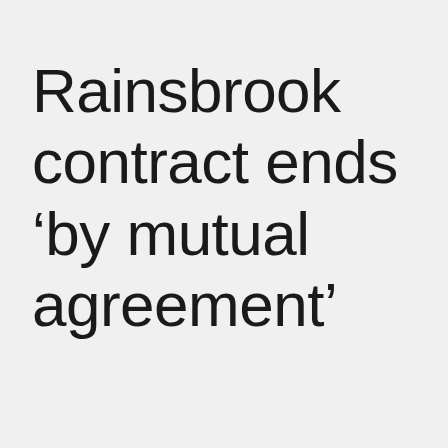Rainsbrook contract ends 'by mutual agreement'